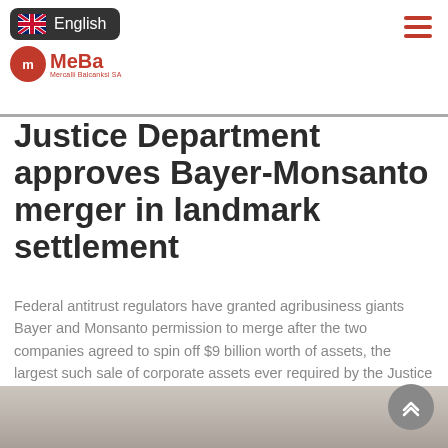English — MeBa (Mercalli Balcanksi SA)
Justice Department approves Bayer-Monsanto merger in landmark settlement
Federal antitrust regulators have granted agribusiness giants Bayer and Monsanto permission to merge after the two companies agreed to spin off $9 billion worth of assets, the largest such sale of corporate assets ever required by the Justice Department. Under the proposed settlement filed Tuesday, Bayer will sell its seed and Read more...
By Meba, 4 years ago
[Figure (photo): Partial view of a woman, bottom of page image strip]